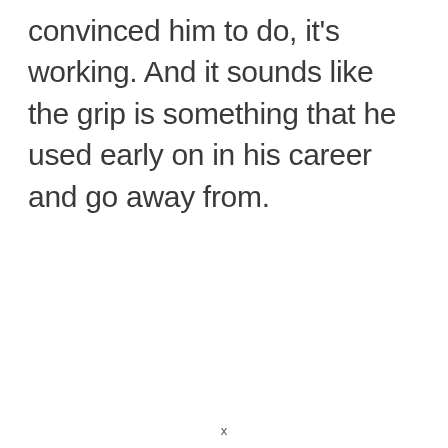convinced him to do, it's working. And it sounds like the grip is something that he used early on in his career and go away from.
x